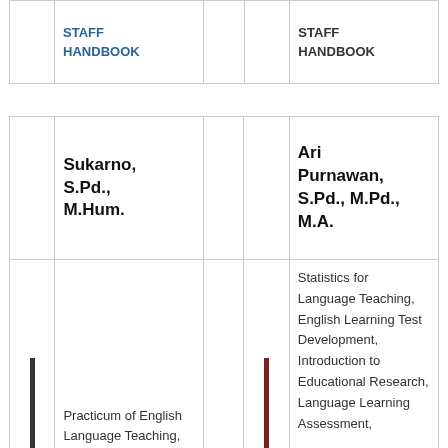|  | STAFF HANDBOOK |  |  | STAFF HANDBOOK |
| --- | --- | --- | --- | --- |
|  | Sukarno, S.Pd., M.Hum. |  |  | Ari Purnawan, S.Pd., M.Pd., M.A. |
|  | Practicum of English Language Teaching, Microteaching, English... |  |  | Statistics for Language Teaching, English Learning Test Development, Introduction to Educational Research, Language Learning Assessment, |